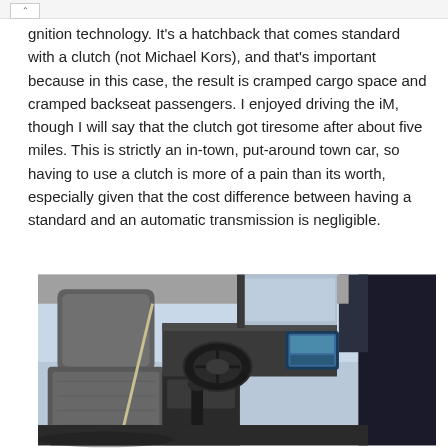gnition technology. It's a hatchback that comes standard with a clutch (not Michael Kors), and that's important because in this case, the result is cramped cargo space and cramped backseat passengers. I enjoyed driving the iM, though I will say that the clutch got tiresome after about five miles. This is strictly an in-town, put-around town car, so having to use a clutch is more of a pain than its worth, especially given that the cost difference between having a standard and an automatic transmission is negligible.
[Figure (photo): Interior photo of a car (Toyota iM) showing the front seats, dashboard, steering wheel, center console, and infotainment screen from a slightly elevated angle.]